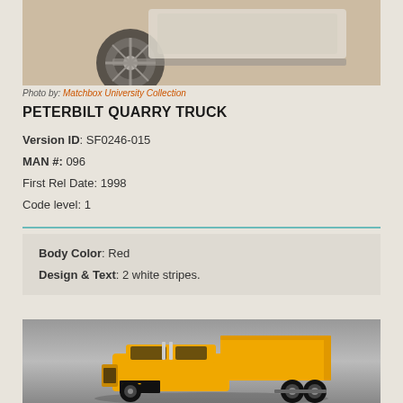[Figure (photo): Top portion of a red Peterbilt Quarry Truck toy model, showing the wheel and undercarriage area against a beige/tan background]
Photo by: Matchbox University Collection
PETERBILT QUARRY TRUCK
Version ID: SF0246-015
MAN #: 096
First Rel Date: 1998
Code level: 1
Body Color: Red
Design & Text: 2 white stripes.
[Figure (photo): Yellow CAT (Caterpillar) Peterbilt Quarry Truck toy model against a gray background, showing the full side profile with dump bed raised]